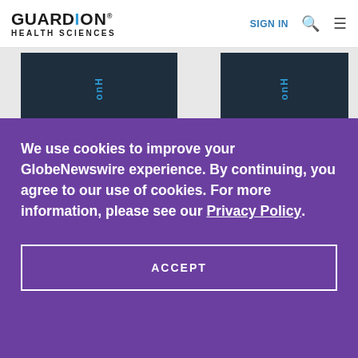GUARDION HEALTH SCIENCES
[Figure (screenshot): Website screenshot showing Guardion Health Sciences page with cookie consent overlay on GlobeNewswire. Dark navy banner tiles visible behind the purple cookie banner.]
We use cookies to improve your GlobeNewswire experience. By continuing, you agree to our use of cookies. For more information, please see our Privacy Policy.
ACCEPT